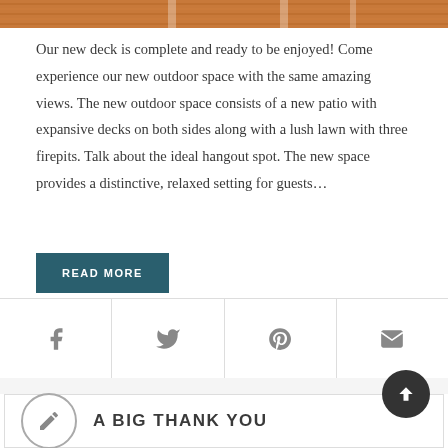[Figure (photo): Top portion of a wooden deck with warm reddish-brown tones, partial view of white chair legs]
Our new deck is complete and ready to be enjoyed! Come experience our new outdoor space with the same amazing views. The new outdoor space consists of a new patio with expansive decks on both sides along with a lush lawn with three firepits. Talk about the ideal hangout spot. The new space provides a distinctive, relaxed setting for guests…
READ MORE
[Figure (infographic): Social share bar with four icons: Facebook, Twitter, Pinterest, Email]
[Figure (infographic): Scroll-to-top circular dark button with upward arrow]
A BIG THANK YOU